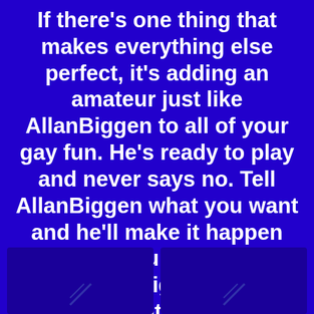If there's one thing that makes everything else perfect, it's adding an amateur just like AllanBiggen to all of your gay fun. He's ready to play and never says no. Tell AllanBiggen what you want and he'll make it happen for you. You might even catch AllanBiggen playing with his hot friends on cam.
[Figure (photo): Two dark blue thumbnail images side by side at the bottom of the page]